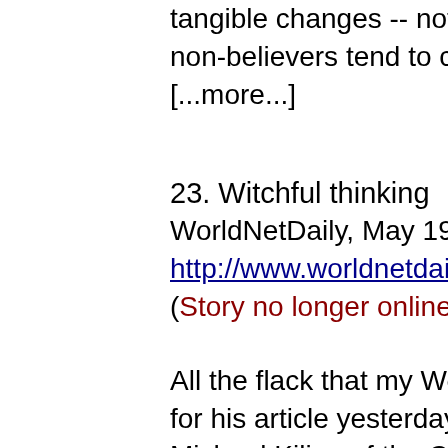tangible changes -- not limited to "vi... non-believers tend to cite. [...more...]
23. Witchful thinking
WorldNetDaily, May 19, 1999 (Opin... http://www.worldnetdaily.com/bluesk... (Story no longer online? Read this)
All the flack that my WorldNetDaily c... for his article yesterday on Wicca re... Michael Kilian of the Chicago Tribu... witchcraft. (...)
Without addressing the dark side of... spirituality, adherents are really only... possess a generic New Age faith --... religious tradition suits their sensibil... I find no reason for enthusiasm ther...